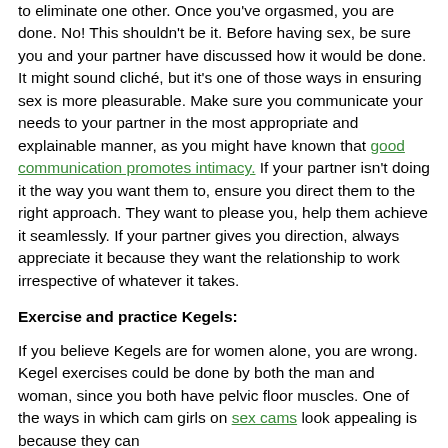to eliminate one other. Once you've orgasmed, you are done. No! This shouldn't be it. Before having sex, be sure you and your partner have discussed how it would be done. It might sound cliché, but it's one of those ways in ensuring sex is more pleasurable. Make sure you communicate your needs to your partner in the most appropriate and explainable manner, as you might have known that good communication promotes intimacy. If your partner isn't doing it the way you want them to, ensure you direct them to the right approach. They want to please you, help them achieve it seamlessly. If your partner gives you direction, always appreciate it because they want the relationship to work irrespective of whatever it takes.
Exercise and practice Kegels:
If you believe Kegels are for women alone, you are wrong. Kegel exercises could be done by both the man and woman, since you both have pelvic floor muscles. One of the ways in which cam girls on sex cams look appealing is because they can